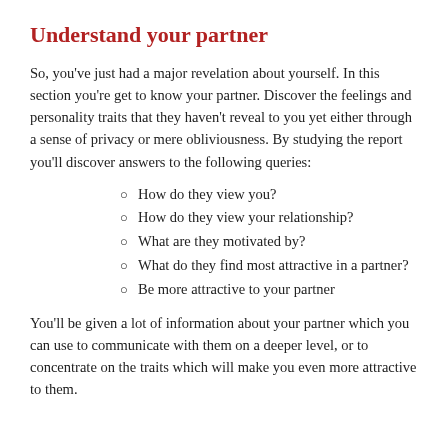Understand your partner
So, you've just had a major revelation about yourself. In this section you're get to know your partner. Discover the feelings and personality traits that they haven't reveal to you yet either through a sense of privacy or mere obliviousness. By studying the report you'll discover answers to the following queries:
How do they view you?
How do they view your relationship?
What are they motivated by?
What do they find most attractive in a partner?
Be more attractive to your partner
You'll be given a lot of information about your partner which you can use to communicate with them on a deeper level, or to concentrate on the traits which will make you even more attractive to them.